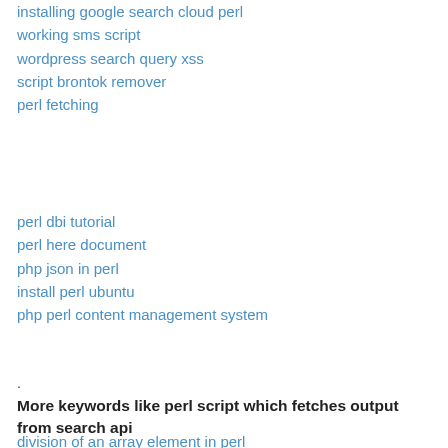installing google search cloud perl
working sms script
wordpress search query xss
script brontok remover
perl fetching
perl dbi tutorial
perl here document
php json in perl
install perl ubuntu
php perl content management system
.
More keywords like perl script which fetches output from search api
division of an array element in perl
perl how to remove an element from an array
yahoo messenger perl client
launch external help file .chm using perl
how to open and read pdf file in perl